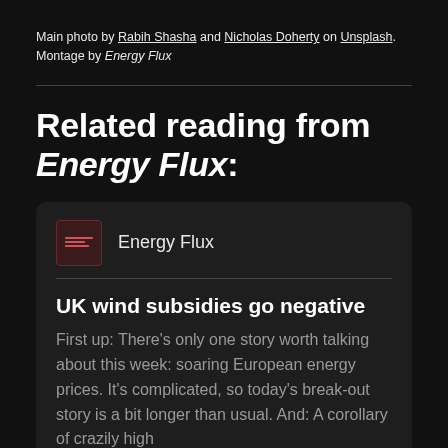Main photo by Rabih Shasha and Nicholas Doherty on Unsplash. Montage by Energy Flux
Related reading from Energy Flux:
[Figure (logo): Energy Flux publication logo - small dark red box with text lines]
Energy Flux
UK wind subsidies go negative
First up: There's only one story worth talking about this week: soaring European energy prices. It's complicated, so today's break-out story is a bit longer than usual. And: A corollary of crazily high